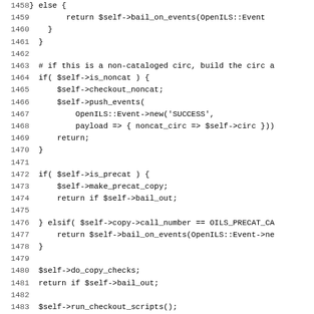[Figure (screenshot): Source code listing in monospace font showing Perl code lines 1458-1490, with line numbers on the left and code on the right. The code shows checkout logic including bail_on_events, is_noncat, push_events, is_precat, do_copy_checks, run_checkout_scripts, build_checkout_circ_object, and booking_adjusted_due_date calls.]